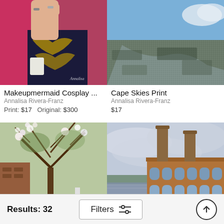[Figure (photo): Cosplay photo showing hands with rings wearing ornate medieval-style costume with gold detail, red background]
Makeupmermaid Cosplay ...
Annalisa Rivera-Franz
Print: $17   Original: $300
[Figure (photo): Aerial photograph of Cape landscape and skies with blue ocean and grey land]
Cape Skies Print
Annalisa Rivera-Franz
$17
[Figure (photo): Photo of tree branches with white blossoms in front of brick building]
[Figure (photo): Photo of industrial factory building with two tall chimneys beside a river, overcast sky]
Results: 32   Filters   ↑